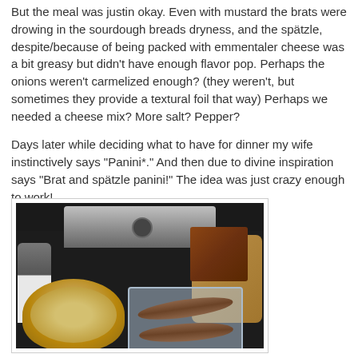But the meal was justin okay. Even with mustard the brats were drowing in the sourdough breads dryness, and the spätzle, despite/because of being packed with emmentaler cheese was a bit greasy but didn't have enough flavor pop. Perhaps the onions weren't carmelized enough? (they weren't, but sometimes they provide a textural foil that way) Perhaps we needed a cheese mix? More salt? Pepper?
Days later while deciding what to have for dinner my wife instinctively says "Panini*." And then due to divine inspiration says "Brat and spätzle panini!" The idea was just crazy enough to work!
[Figure (photo): Kitchen counter with a panini press, a bowl of spätzle, a plastic container with bratwurst sausages, a bread bag, and a small decorative package. Dark granite countertop background.]